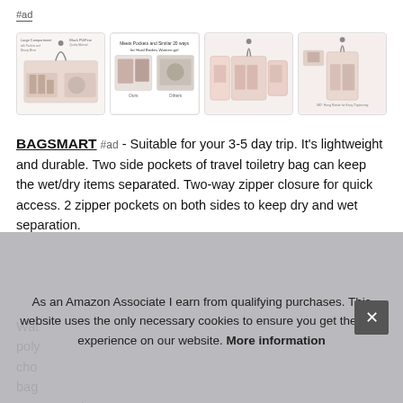#ad
[Figure (photo): Four thumbnail images of a pink travel toiletry bag showing interior organization, items stored inside, hanging hook, and size comparison.]
BAGSMART #ad - Suitable for your 3-5 day trip. It's lightweight and durable. Two side pockets of travel toiletry bag can keep the wet/dry items separated. Two-way zipper closure for quick access. 2 zipper pockets on both sides to keep dry and wet separation.
Wat poly cho bag women and men
As an Amazon Associate I earn from qualifying purchases. This website uses the only necessary cookies to ensure you get the best experience on our website. More information